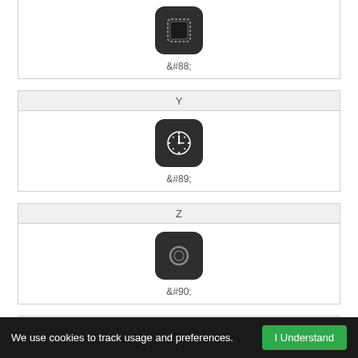[Figure (illustration): Icon for character X (&#88;) — dark rounded square with inner square outline]
&#88;
Y
[Figure (illustration): Icon for character Y (&#89;) — dark rounded square with clock/timer face]
&#89;
Z
[Figure (illustration): Icon for character Z (&#90;) — dark rounded square with circular lens/camera shape]
&#90;
We use cookies to track usage and preferences.  I Understand